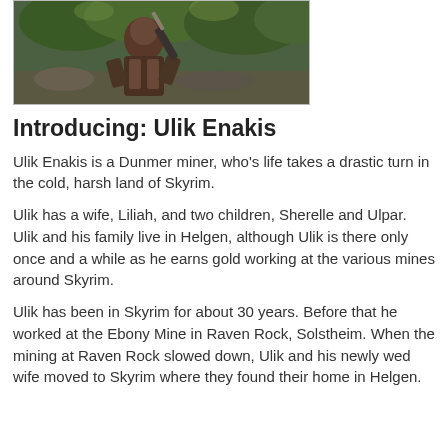[Figure (photo): Screenshot from a video game (likely Skyrim) showing a dark-armored character in a forested outdoor environment]
Introducing: Ulik Enakis
Ulik Enakis is a Dunmer miner, who's life takes a drastic turn in the cold, harsh land of Skyrim.
Ulik has a wife, Liliah, and two children, Sherelle and Ulpar. Ulik and his family live in Helgen, although Ulik is there only once and a while as he earns gold working at the various mines around Skyrim.
Ulik has been in Skyrim for about 30 years. Before that he worked at the Ebony Mine in Raven Rock, Solstheim. When the mining at Raven Rock slowed down, Ulik and his newly wed wife moved to Skyrim where they found their home in Helgen.